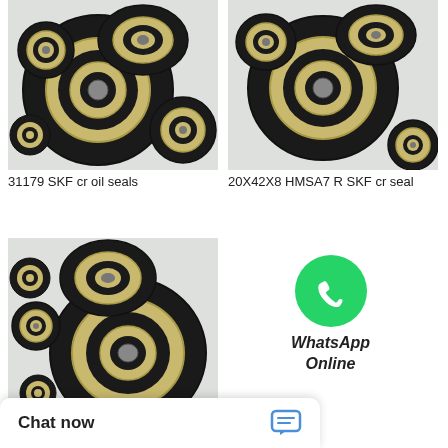[Figure (photo): Photo of multiple SKF cr oil seals (black rubber and metal) scattered on white background]
31179 SKF cr oil seals
[Figure (photo): Photo of multiple 20X42X8 HMSA7 R SKF cr seals (black rubber and metal) scattered on white background]
20X42X8 HMSA7 R SKF cr seal
[Figure (photo): Photo of multiple 130041 SKF cr seals (black rubber and metal) scattered on white background]
[Figure (logo): WhatsApp Online button with green WhatsApp phone icon]
130041 SKF cr seals
Chat now